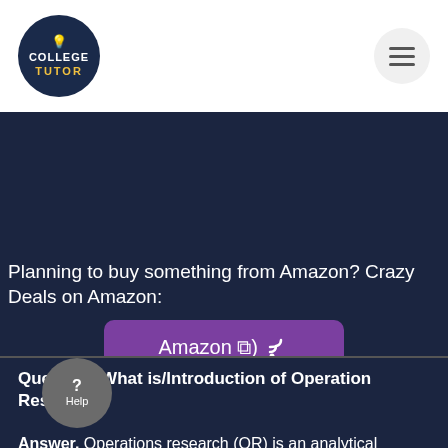[Figure (logo): College Tutor logo — dark navy circle with light bulb icon, text COLLEGE above TUTOR in yellow]
Planning to buy something from Amazon? Crazy Deals on Amazon:
[Figure (other): Purple Amazon button with RSS icon]
Question. What is/Introduction of Operation Research
Answer. Operations research (OR) is an analytical method of problem-solving and decision-making that is useful in the management of organizations. In operations research, problems are broken down